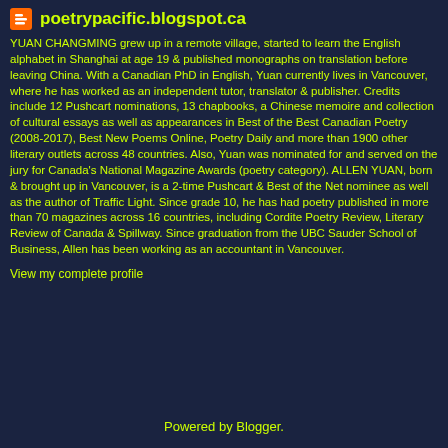poetrypacific.blogspot.ca
YUAN CHANGMING grew up in a remote village, started to learn the English alphabet in Shanghai at age 19 & published monographs on translation before leaving China. With a Canadian PhD in English, Yuan currently lives in Vancouver, where he has worked as an independent tutor, translator & publisher. Credits include 12 Pushcart nominations, 13 chapbooks, a Chinese memoire and collection of cultural essays as well as appearances in Best of the Best Canadian Poetry (2008-2017), Best New Poems Online, Poetry Daily and more than 1900 other literary outlets across 48 countries. Also, Yuan was nominated for and served on the jury for Canada's National Magazine Awards (poetry category). ALLEN YUAN, born & brought up in Vancouver, is a 2-time Pushcart & Best of the Net nominee as well as the author of Traffic Light. Since grade 10, he has had poetry published in more than 70 magazines across 16 countries, including Cordite Poetry Review, Literary Review of Canada & Spillway. Since graduation from the UBC Sauder School of Business, Allen has been working as an accountant in Vancouver.
View my complete profile
Powered by Blogger.